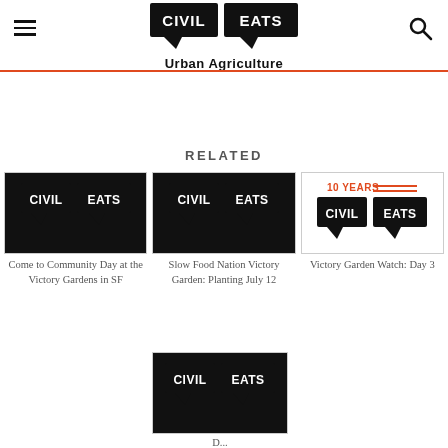Civil Eats — Urban Agriculture
RELATED
[Figure (logo): Civil Eats logo (black speech bubble with white bold text) — related article thumbnail 1]
Come to Community Day at the Victory Gardens in SF
[Figure (logo): Civil Eats logo (black speech bubble with white bold text) — related article thumbnail 2]
Slow Food Nation Victory Garden: Planting July 12
[Figure (logo): Civil Eats 10 Years logo (orange text '10 YEARS' above black speech bubble) — related article thumbnail 3]
Victory Garden Watch: Day 3
[Figure (logo): Civil Eats logo (black speech bubble with white bold text) — related article thumbnail 4]
D...